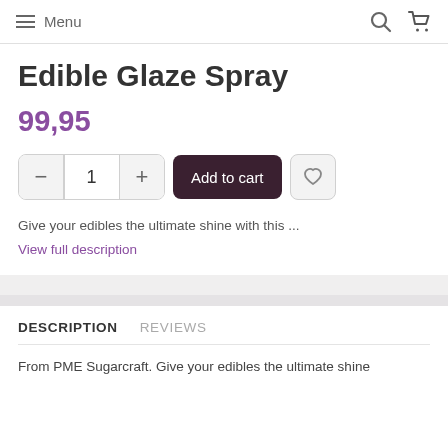Menu
Edible Glaze Spray
99,95
1
Add to cart
Give your edibles the ultimate shine with this ...
View full description
DESCRIPTION
REVIEWS
From PME Sugarcraft. Give your edibles the ultimate shine